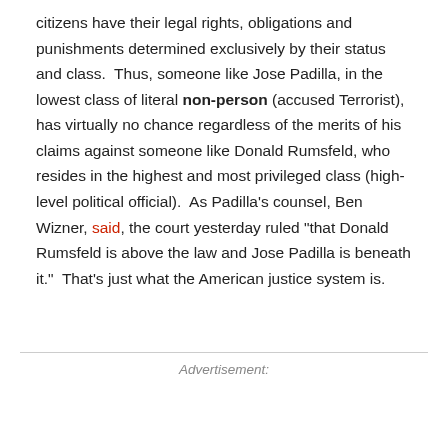citizens have their legal rights, obligations and punishments determined exclusively by their status and class.  Thus, someone like Jose Padilla, in the lowest class of literal non-person (accused Terrorist), has virtually no chance regardless of the merits of his claims against someone like Donald Rumsfeld, who resides in the highest and most privileged class (high-level political official).  As Padilla's counsel, Ben Wizner, said, the court yesterday ruled "that Donald Rumsfeld is above the law and Jose Padilla is beneath it."  That's just what the American justice system is.
Advertisement: